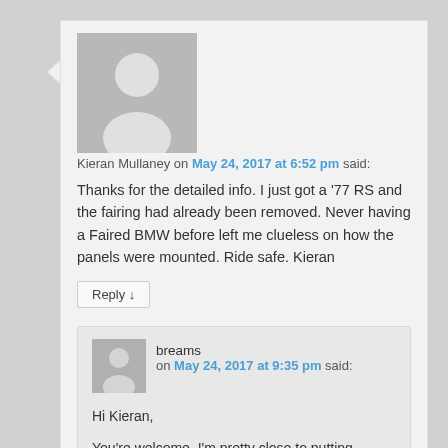[Figure (illustration): Gray avatar placeholder image showing silhouette of a person]
Kieran Mullaney on May 24, 2017 at 6:52 pm said:
Thanks for the detailed info. I just got a '77 RS and the fairing had already been removed. Never having a Faired BMW before left me clueless on how the panels were mounted. Ride safe. Kieran
Reply ↓
[Figure (illustration): Gray avatar placeholder image showing silhouette of a person (nested comment)]
breams on May 24, 2017 at 9:35 pm said:
Hi Kieran,
You're welcome. I'm pretty close to putting